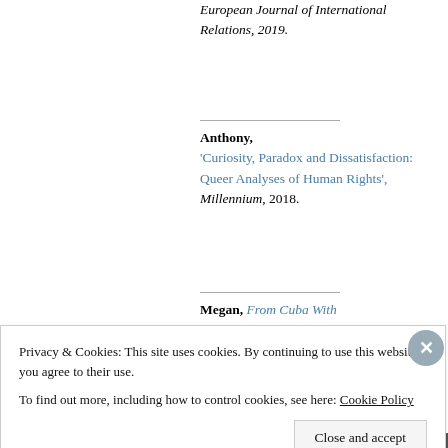European Journal of International Relations, 2019.
Anthony, 'Curiosity, Paradox and Dissatisfaction: Queer Analyses of Human Rights', Millennium, 2018.
Megan, From Cuba With
Privacy & Cookies: This site uses cookies. By continuing to use this website, you agree to their use.
To find out more, including how to control cookies, see here: Cookie Policy
Close and accept